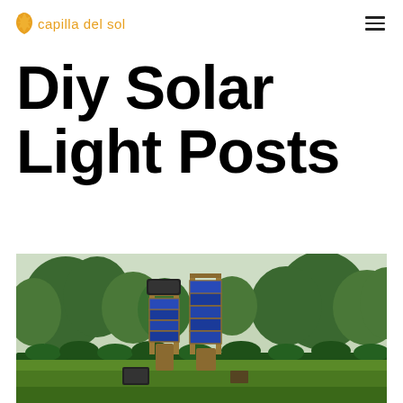capilla del sol
Diy Solar Light Posts
[Figure (photo): Two DIY solar light post structures made of wood and blue solar panels arranged in a zigzag pattern, photographed outdoors in a green garden setting with trees in the background]